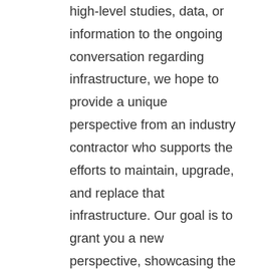high-level studies, data, or information to the ongoing conversation regarding infrastructure, we hope to provide a unique perspective from an industry contractor who supports the efforts to maintain, upgrade, and replace that infrastructure. Our goal is to grant you a new perspective, showcasing the unique ways in which GPRS might be able to support the needed infrastructure upgrades in our communities. For example, from one vantage point, given the data, the infrastructure needs of the U.S. seem like an insurmountable task. However, from our vantage point, with the power of American ingenuity, teamwork, and determination, we can overcome and ensure the critical infrastructure stability needed for future generations.